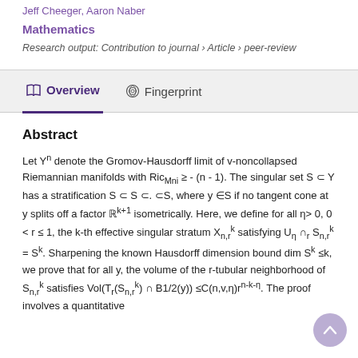Jeff Cheeger, Aaron Naber
Mathematics
Research output: Contribution to journal › Article › peer-review
Overview   Fingerprint
Abstract
Let Yⁿ denote the Gromov-Hausdorff limit of v-noncollapsed Riemannian manifolds with Ric_{Mni} ≥ - (n - 1). The singular set S ⊂ Y has a stratification S ⊂ S ⊂. ⊂S, where y ∈S if no tangent cone at y splits off a factor ℝ^{k+1} isometrically. Here, we define for all η> 0, 0 < r ≤ 1, the k-th effective singular stratum X_{n,r}^k satisfying U_η ∩_r S_{n,r}^k = S^k. Sharpening the known Hausdorff dimension bound dim S^k ≤k, we prove that for all y, the volume of the r-tubular neighborhood of S_{n,r}^k satisfies Vol(T_r(S_{n,r}^k) ∩ B1/2(y)) ≤C(n,v,η)r^{n-k-η}. The proof involves a quantitative